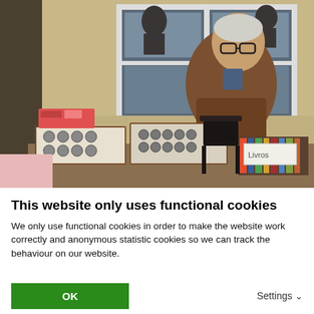[Figure (photo): An elderly man with white hair and glasses wearing a brown leather jacket stands behind a market stall table covered with boxes of coins, stamps, and books. A folding chair is visible behind the table. A large window with white frames is visible in the background against a yellow/cream wall.]
This website only uses functional cookies
We only use functional cookies in order to make the website work correctly and anonymous statistic cookies so we can track the behaviour on our website.
OK
Settings